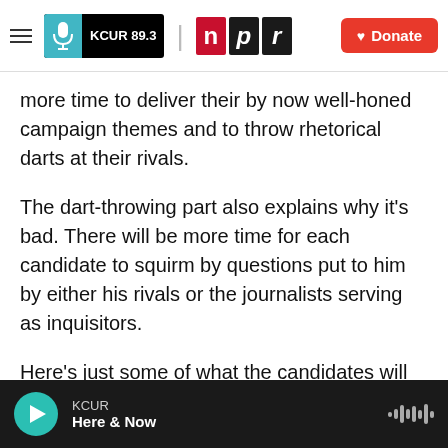KCUR 89.3 | npr | Donate
more time to deliver their by now well-honed campaign themes and to throw rhetorical darts at their rivals.
The dart-throwing part also explains why it's bad. There will be more time for each candidate to squirm by questions put to him by either his rivals or the journalists serving as inquisitors.
Here's just some of what the candidates will have to contend with in a debate that has the potential to produce some real political fireworks because of all the news beforehand, the reduced number of
KCUR — Here & Now